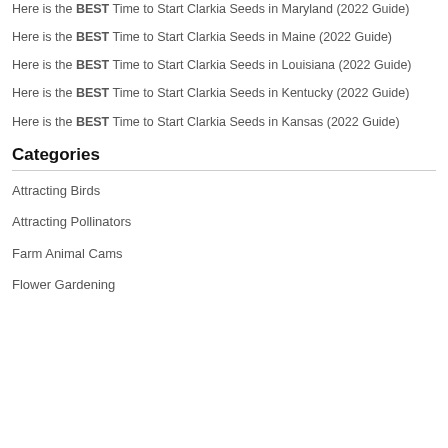Here is the BEST Time to Start Clarkia Seeds in Maryland (2022 Guide)
Here is the BEST Time to Start Clarkia Seeds in Maine (2022 Guide)
Here is the BEST Time to Start Clarkia Seeds in Louisiana (2022 Guide)
Here is the BEST Time to Start Clarkia Seeds in Kentucky (2022 Guide)
Here is the BEST Time to Start Clarkia Seeds in Kansas (2022 Guide)
Categories
Attracting Birds
Attracting Pollinators
Farm Animal Cams
Flower Gardening